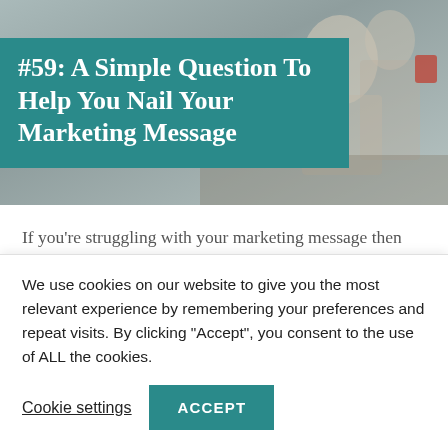[Figure (photo): Photo of people in a meeting or working setting, with a teal/dark overlay on the left portion containing the title text]
#59: A Simple Question To Help You Nail Your Marketing Message
If you’re struggling with your marketing message then you may need to ask yourself this one simple question. Watch Here Listen Here
We use cookies on our website to give you the most relevant experience by remembering your preferences and repeat visits. By clicking “Accept”, you consent to the use of ALL the cookies.
Cookie settings
ACCEPT